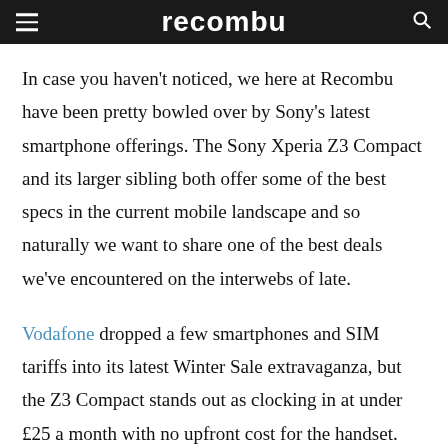recombu
In case you haven't noticed, we here at Recombu have been pretty bowled over by Sony's latest smartphone offerings. The Sony Xperia Z3 Compact and its larger sibling both offer some of the best specs in the current mobile landscape and so naturally we want to share one of the best deals we've encountered on the interwebs of late.
Vodafone dropped a few smartphones and SIM tariffs into its latest Winter Sale extravaganza, but the Z3 Compact stands out as clocking in at under £25 a month with no upfront cost for the handset. For the most affordable plan in the lineup you'll